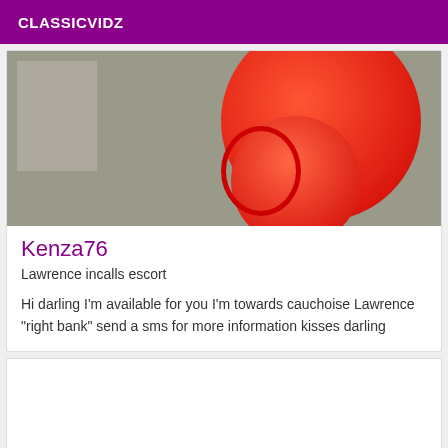CLASSICVIDZ
[Figure (photo): Photo showing a gray background with red balloon-like circular shapes on the right side]
Kenza76
Lawrence incalls escort
Hi darling I'm available for you I'm towards cauchoise Lawrence "right bank" send a sms for more information kisses darling